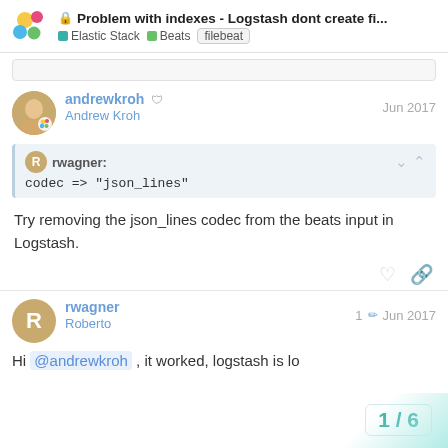Problem with indexes - Logstash dont create fi... | Elastic Stack | Beats | filebeat
rwagner: codec => "json_lines"
andrewkroh | Andrew Kroh | Jun 2017
Try removing the json_lines codec from the beats input in Logstash.
rwagner Roberto | 1 | Jun 2017
Hi @andrewkroh , it worked, logstash is lo...